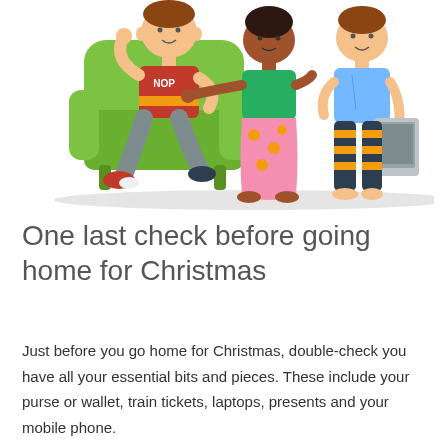[Figure (illustration): Cartoon illustration of three children: a boy sitting in a green armchair wearing a red shirt with 'NOP' on it and grey jeans, a dark-skinned girl standing in a green top and pink polka-dot skirt pointing at the boy, and another boy in a blue shirt holding a tablet/laptop wearing striped orange-and-black pants.]
One last check before going home for Christmas
Just before you go home for Christmas, double-check you have all your essential bits and pieces. These include your purse or wallet, train tickets, laptops, presents and your mobile phone.